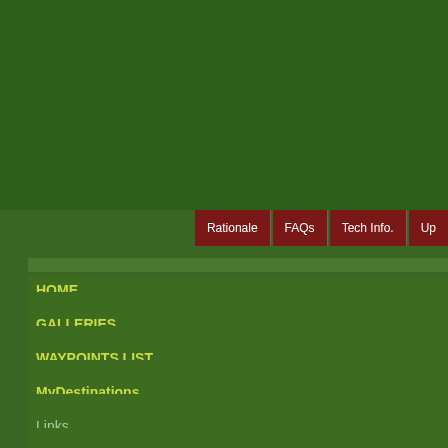[Figure (screenshot): Top green banner area of a travel/GPS website]
Rationale | FAQs | Tech Info. | Up...
HOME
GALLERIES
WAYPOINTS LIST
MyDestinations
Links
Downloads
Contribute
Contributors
Resorts Listing
POIs by Province
Free GPS Map
FREE Travel Brochures!
Contributor: Sandy Palacpac, Jr.  edit p...
| Field | Value |
| --- | --- |
| Signature | tickleboobs |
| Occupation | Sales Manager |
| Hails from | Los Baños |
| Sports/Recreation | badminton, computers... |
Contributions: Photos  Narratives  GPS...